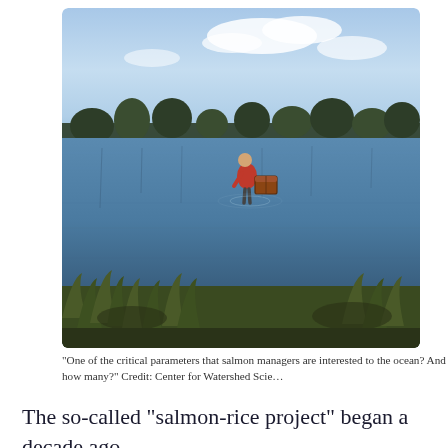[Figure (photo): A person in a red jacket stands in a flooded rice field, stooping over a collection box or trap. The water reflects a cloudy blue sky. Trees line the horizon in the background. Sparse grass and reeds appear in the foreground.]
“One of the critical parameters that salmon managers are interested to the ocean? And how many?” Credit: Center for Watershed Scie…
The so-called “salmon-rice project” began a decade ago,